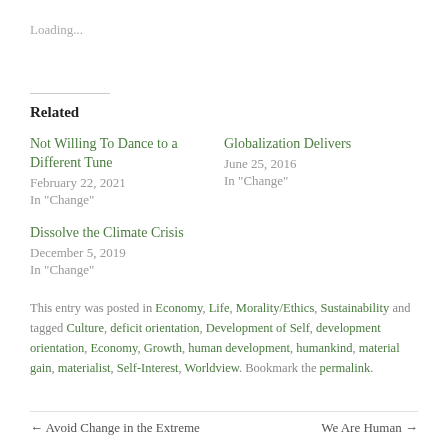Loading...
Related
Not Willing To Dance to a Different Tune
February 22, 2021
In "Change"
Globalization Delivers
June 25, 2016
In "Change"
Dissolve the Climate Crisis
December 5, 2019
In "Change"
This entry was posted in Economy, Life, Morality/Ethics, Sustainability and tagged Culture, deficit orientation, Development of Self, development orientation, Economy, Growth, human development, humankind, material gain, materialist, Self-Interest, Worldview. Bookmark the permalink.
← Avoid Change in the Extreme    We Are Human →